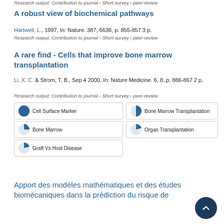Research output: Contribution to journal › Short survey › peer-review
A robust view of biochemical pathways
Hartwell, L., 1997, In: Nature. 387, 6636, p. 855-857 3 p.
Research output: Contribution to journal › Short survey › peer-review
A rare find - Cells that improve bone marrow transplantation
Li, X. C. & Strom, T. B., Sep 4 2000, In: Nature Medicine. 6, 8, p. 866-867 2 p.
Research output: Contribution to journal › Short survey › peer-review
100% Cell Surface Marker
60% Bone Marrow Transplantation
30% Bone Marrow
20% Organ Transplantation
20% Graft Vs Host Disease
Apport des modèles mathématiques et des études biomécaniques dans la prédiction du risque de